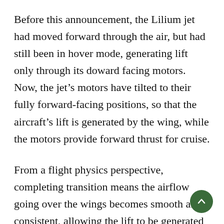Before this announcement, the Lilium jet had moved forward through the air, but had still been in hover mode, generating lift only through its doward facing motors. Now, the jet's motors have tilted to their fully forward-facing positions, so that the aircraft's lift is generated by the wing, while the motors provide forward thrust for cruise.
From a flight physics perspective, completing transition means the airflow going over the wings becomes smooth and consistent, allowing the lift to be generated by the wing (as in conventional fixed wing aircraft), rather than by by the downward facing motors (which is the case during the